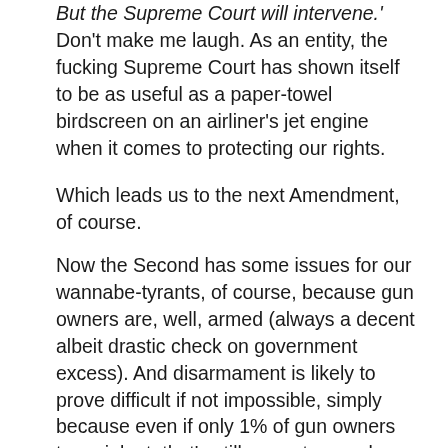But the Supreme Court will intervene.'  Don't make me laugh.  As an entity, the fucking Supreme Court has shown itself to be as useful as a paper-towel birdscreen on an airliner's jet engine when it comes to protecting our rights.
Which leads us to the next Amendment, of course.
Now the Second has some issues for our wannabe-tyrants, of course, because gun owners are, well, armed (always a decent albeit drastic check on government excess).  And disarmament is likely to prove difficult if not impossible, simply because even if only 1% of gun owners turn violent, that's still a greater number than the number of law enforcement officers who would be tasked with doing the job.
There is another way to disarm gun owners, and it's quite legal:  pass a law or regulation that requires gun